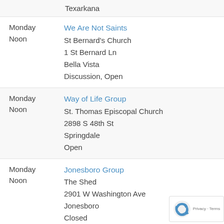Texarkana
Monday
Noon
We Are Not Saints
St Bernard's Church
1 St Bernard Ln
Bella Vista
Discussion, Open
Monday
Noon
Way of Life Group
St. Thomas Episcopal Church
2898 S 48th St
Springdale
Open
Monday
Noon
Jonesboro Group
The Shed
2901 W Washington Ave
Jonesboro
Closed